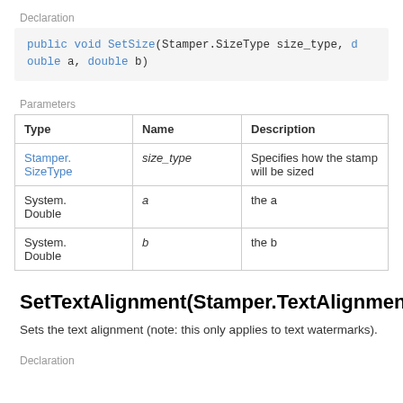Declaration
public void SetSize(Stamper.SizeType size_type, double a, double b)
Parameters
| Type | Name | Description |
| --- | --- | --- |
| Stamper.SizeType | size_type | Specifies how the stamp will be sized |
| System.Double | a | the a |
| System.Double | b | the b |
SetTextAlignment(Stamper.TextAlignment)
Sets the text alignment (note: this only applies to text watermarks).
Declaration